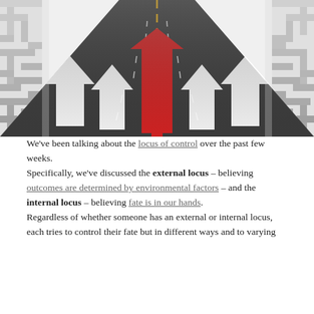[Figure (illustration): A road stretching into the distance through a white maze/labyrinth, with multiple white arrows pointing upward along the road and one prominent red arrow in the center, viewed from a perspective angle.]
We've been talking about the locus of control over the past few weeks.
Specifically, we've discussed the external locus – believing outcomes are determined by environmental factors – and the internal locus – believing fate is in our hands.
Regardless of whether someone has an external or internal locus, each tries to control their fate but in different ways and to varying